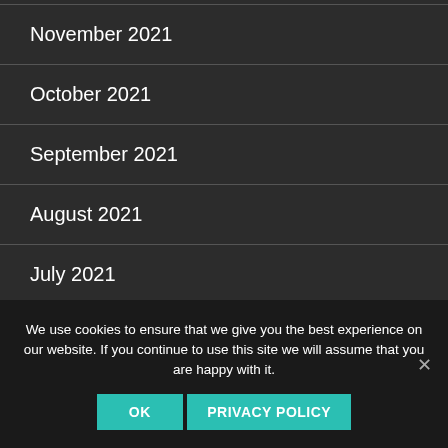November 2021
October 2021
September 2021
August 2021
July 2021
June 2021
May 2021
We use cookies to ensure that we give you the best experience on our website. If you continue to use this site we will assume that you are happy with it.
OK | PRIVACY POLICY